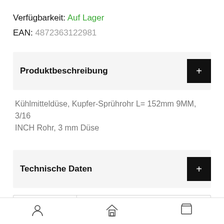Verfügbarkeit: Auf Lager
EAN: 4872363122981
Produktbeschreibung
Kühlmitteldüse, Kupfer-Sprührohr L= 152mm 9MM, 3/16 INCH Rohr, 3 mm Düse
Technische Daten
| Art-Nr. |  |
| --- | --- |
| Art-Nr. | LP05501 |
Navigation icons: user, home, cart